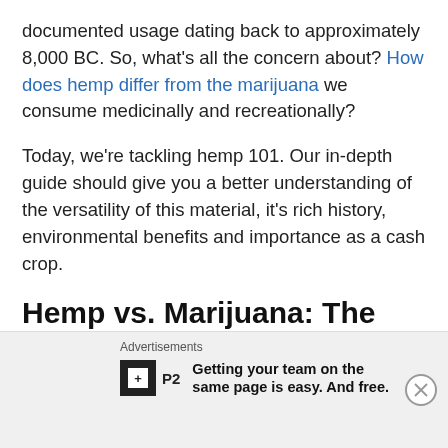documented usage dating back to approximately 8,000 BC. So, what's all the concern about? How does hemp differ from the marijuana we consume medicinally and recreationally?
Today, we're tackling hemp 101. Our in-depth guide should give you a better understanding of the versatility of this material, it's rich history, environmental benefits and importance as a cash crop.
Hemp vs. Marijuana: The Difference Explained
Advertisements — Getting your team on the same page is easy. And free.